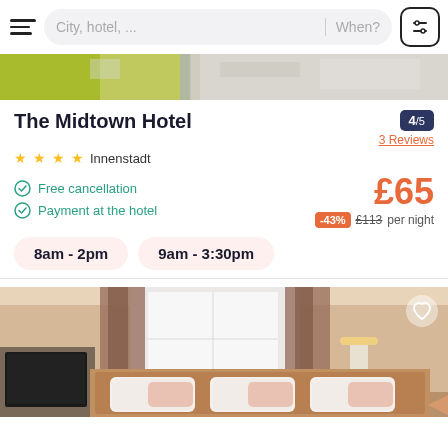City, hotel, ... | When?
[Figure (photo): Top portion of hotel building exterior photo, partially visible]
The Midtown Hotel
4/5 · 3 Reviews
★★★★ Innenstadt
Free cancellation
Payment at the hotel
£65
-43% £113 per night
8am - 2pm
9am - 3:30pm
[Figure (photo): Hotel room interior showing bed with pillows, curtains and window]